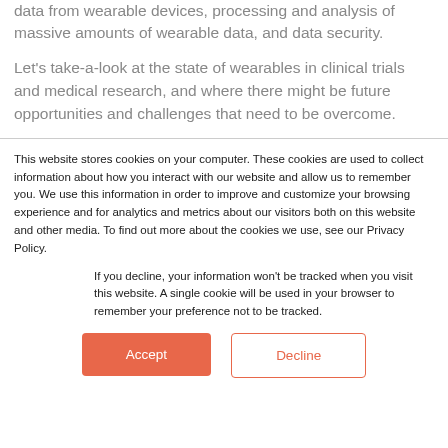data from wearable devices, processing and analysis of massive amounts of wearable data, and data security.
Let's take-a-look at the state of wearables in clinical trials and medical research, and where there might be future opportunities and challenges that need to be overcome.
This website stores cookies on your computer. These cookies are used to collect information about how you interact with our website and allow us to remember you. We use this information in order to improve and customize your browsing experience and for analytics and metrics about our visitors both on this website and other media. To find out more about the cookies we use, see our Privacy Policy.
If you decline, your information won't be tracked when you visit this website. A single cookie will be used in your browser to remember your preference not to be tracked.